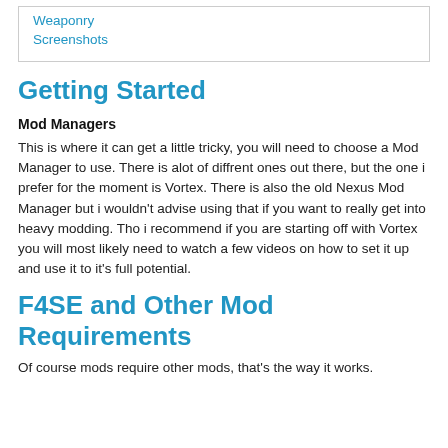Weaponry
Screenshots
Getting Started
Mod Managers
This is where it can get a little tricky, you will need to choose a Mod Manager to use. There is alot of diffrent ones out there, but the one i prefer for the moment is Vortex. There is also the old Nexus Mod Manager but i wouldn't advise using that if you want to really get into heavy modding. Tho i recommend if you are starting off with Vortex you will most likely need to watch a few videos on how to set it up and use it to it's full potential.
F4SE and Other Mod Requirements
Of course mods require other mods, that's the way it works.